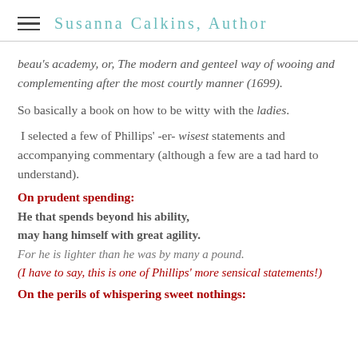Susanna Calkins, Author
beau's academy, or, The modern and genteel way of wooing and complementing after the most courtly manner (1699).
So basically a book on how to be witty with the ladies.
I selected a few of Phillips' -er- wisest statements and accompanying commentary (although a few are a tad hard to understand).
On prudent spending:
He that spends beyond his ability,
may hang himself with great agility.
For he is lighter than he was by many a pound.
(I have to say, this is one of Phillips' more sensical statements!)
On the perils of whispering sweet nothings: